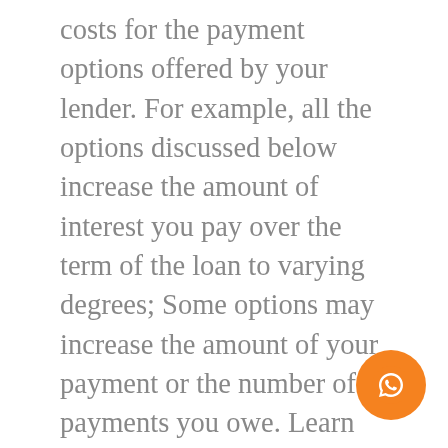costs for the payment options offered by your lender. For example, all the options discussed below increase the amount of interest you pay over the term of the loan to varying degrees; Some options may increase the amount of your payment or the number of payments you owe. Learn about the pros and cons of some of the options that may be available to you so you can find the best way to keep your car and not default on your loan.